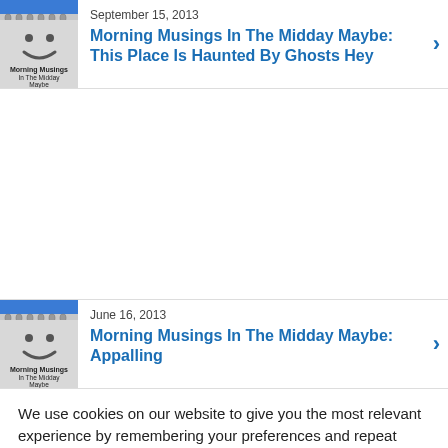[Figure (illustration): Thumbnail image of a notebook with a smiley face, titled 'Morning Musings In The Midday Maybe']
September 15, 2013
Morning Musings In The Midday Maybe: This Place Is Haunted By Ghosts Hey
[Figure (illustration): Thumbnail image of a notebook with a smiley face, titled 'Morning Musings In The Midday Maybe']
June 16, 2013
Morning Musings In The Midday Maybe: Appalling
We use cookies on our website to give you the most relevant experience by remembering your preferences and repeat visits. By clicking “Accept”, you consent to the use of ALL the cookies.
Do not sell my personal information.
Cookie Settings
Accept